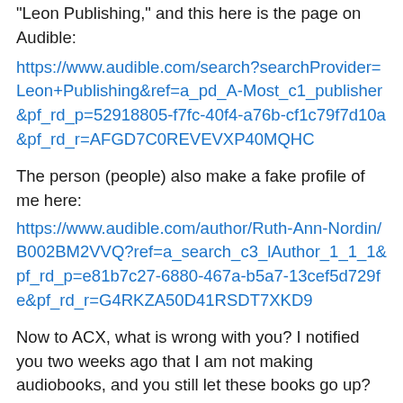"Leon Publishing," and this here is the page on Audible:
https://www.audible.com/search?searchProvider=Leon+Publishing&ref=a_pd_A-Most_c1_publisher&pf_rd_p=52918805-f7fc-40f4-a76b-cf1c79f7d10a&pf_rd_r=AFGD7C0REVEVXP40MQHC
The person (people) also make a fake profile of me here:
https://www.audible.com/author/Ruth-Ann-Nordin/B002BM2VVQ?ref=a_search_c3_lAuthor_1_1_1&pf_rd_p=e81b7c27-6880-467a-b5a7-13cef5d729fe&pf_rd_r=G4RKZA50D41RSDT7XKD9
Now to ACX, what is wrong with you? I notified you two weeks ago that I am not making audiobooks, and you still let these books go up? Is there no way you can vet the people coming to your site? Why is it that I have told you what is happening AND a narrator also alerted you to this